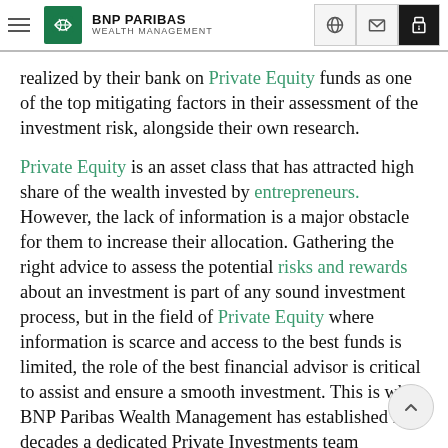BNP PARIBAS WEALTH MANAGEMENT
realized by their bank on Private Equity funds as one of the top mitigating factors in their assessment of the investment risk, alongside their own research.
Private Equity is an asset class that has attracted high share of the wealth invested by entrepreneurs. However, the lack of information is a major obstacle for them to increase their allocation. Gathering the right advice to assess the potential risks and rewards about an investment is part of any sound investment process, but in the field of Private Equity where information is scarce and access to the best funds is limited, the role of the best financial advisor is critical to assist and ensure a smooth investment. This is why BNP Paribas Wealth Management has established for decades a dedicated Private Investments team